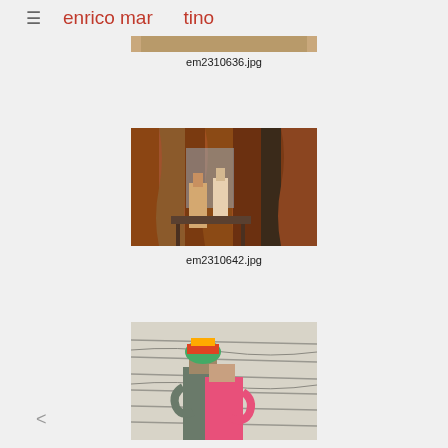≡ enrico martino
[Figure (photo): Beach scene with people, pink umbrellas, chairs near waterfront]
em2310636.jpg
[Figure (photo): Interior market stall with brown fabric curtains, people sitting inside]
em2310642.jpg
[Figure (photo): Two people hugging against a striped fabric background, one wearing colorful headwear and pink shirt]